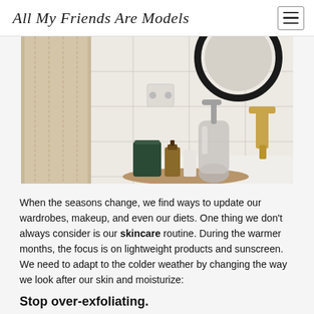All My Friends Are Models
[Figure (photo): Bathroom counter scene with skincare products including a glass pump bottle, dark green candle jar, small perfume bottle, and white tube on a wooden tray; beige towel hanging on the left, round black mirror in upper right, gold faucet on the right, white tile background.]
When the seasons change, we find ways to update our wardrobes, makeup, and even our diets. One thing we don't always consider is our skincare routine. During the warmer months, the focus is on lightweight products and sunscreen. We need to adapt to the colder weather by changing the way we look after our skin and moisturize:
Stop over-exfoliating.